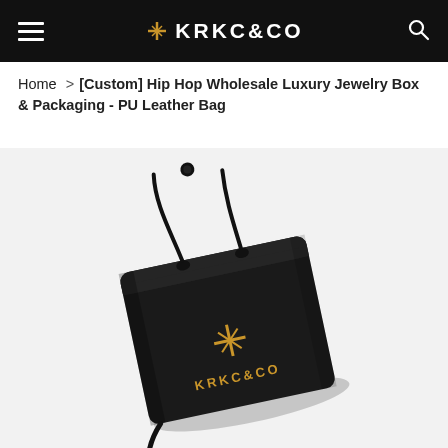KRKC&CO
Home > [Custom] Hip Hop Wholesale Luxury Jewelry Box & Packaging - PU Leather Bag
[Figure (photo): A black PU leather drawstring bag with gold KRKC&CO logo and brand icon printed on the front, photographed on a white background at a slight angle.]